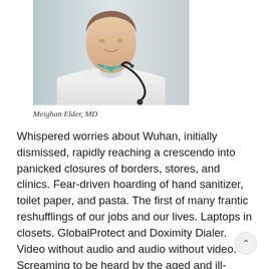[Figure (photo): Cropped photo of a woman physician (Meighan Elder, MD) wearing a white coat, teal/turquoise necklace, and a stethoscope around her neck. The image is cropped at the shoulders/chest area.]
Meighan Elder, MD
Whispered worries about Wuhan, initially dismissed, rapidly reaching a crescendo into panicked closures of borders, stores, and clinics. Fear-driven hoarding of hand sanitizer, toilet paper, and pasta. The first of many frantic reshufflings of our jobs and our lives. Laptops in closets. GlobalProtect and Doximity Dialer. Video without audio and audio without video. Screaming to be heard by the aged and ill-equipped.
The sudden absence of demand and then the